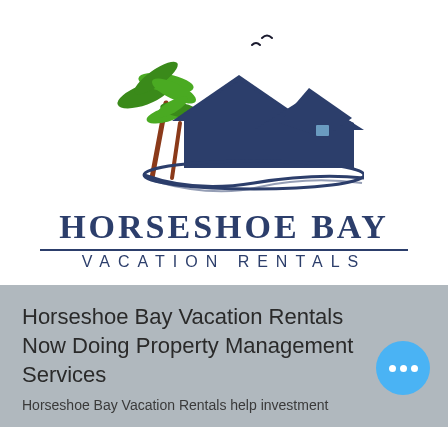[Figure (logo): Horseshoe Bay Vacation Rentals logo: two blue houses with a dark navy roof, green palm trees with brown trunk, two bird silhouettes, and a decorative navy water/ground swirl at the base.]
HORSESHOE BAY
VACATION RENTALS
Horseshoe Bay Vacation Rentals Now Doing Property Management Services
Horseshoe Bay Vacation Rentals help investment